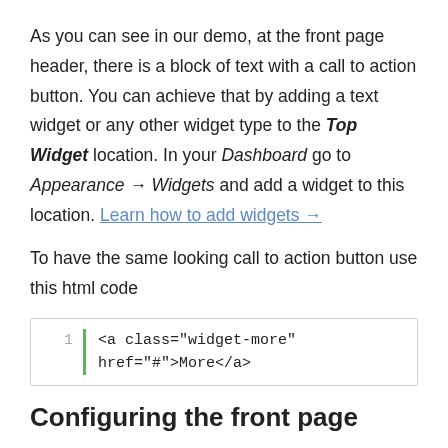As you can see in our demo, at the front page header, there is a block of text with a call to action button. You can achieve that by adding a text widget or any other widget type to the Top Widget location. In your Dashboard go to Appearance → Widgets and add a widget to this location. Learn how to add widgets →
To have the same looking call to action button use this html code
[Figure (screenshot): Code block showing: 1 | <a class="widget-more" href="#">More</a>]
Configuring the front page